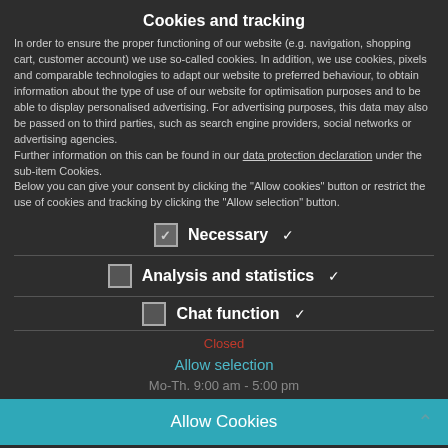Cookies and tracking
In order to ensure the proper functioning of our website (e.g. navigation, shopping cart, customer account) we use so-called cookies. In addition, we use cookies, pixels and comparable technologies to adapt our website to preferred behaviour, to obtain information about the type of use of our website for optimisation purposes and to be able to display personalised advertising. For advertising purposes, this data may also be passed on to third parties, such as search engine providers, social networks or advertising agencies.
Further information on this can be found in our data protection declaration under the sub-item Cookies.
Below you can give your consent by clicking the "Allow cookies" button or restrict the use of cookies and tracking by clicking the "Allow selection" button.
☑ Necessary ▾
☐ Analysis and statistics ▾
☐ Chat function ▾
Closed
Allow selection
Mo-Th. 9:00 am - 5:00 pm
Allow Cookies